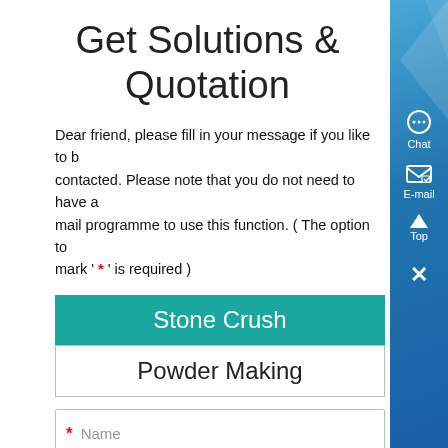Get Solutions & Quotation
Dear friend, please fill in your message if you like to be contacted. Please note that you do not need to have a mail programme to use this function. ( The option to mark ' * ' is required )
Stone Crush
Powder Making
* Name
* Email